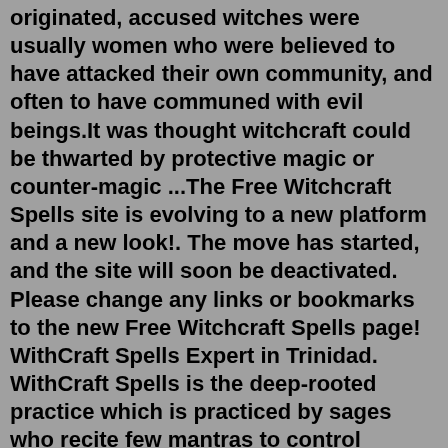originated, accused witches were usually women who were believed to have attacked their own community, and often to have communed with evil beings.It was thought witchcraft could be thwarted by protective magic or counter-magic ...The Free Witchcraft Spells site is evolving to a new platform and a new look!. The move has started, and the site will soon be deactivated. Please change any links or bookmarks to the new Free Witchcraft Spells page! WithCraft Spells Expert in Trinidad. WithCraft Spells is the deep-rooted practice which is practiced by sages who recite few mantras to control somebody's brain to act as indicated by our desires. We all seek love in our lives and therefore we try each possible method in order to achieve our purpose. WithCraft Spells can be utilized for both ... Waxing Moon Spells – witchcraft Spells, magic spells and moon spells have certain influential effect on love, money, weight loss and more. If you want resonating moon powers instilled within your spells, look here. Full Moon Spells– Powerful witchcraft spells relating to using the power